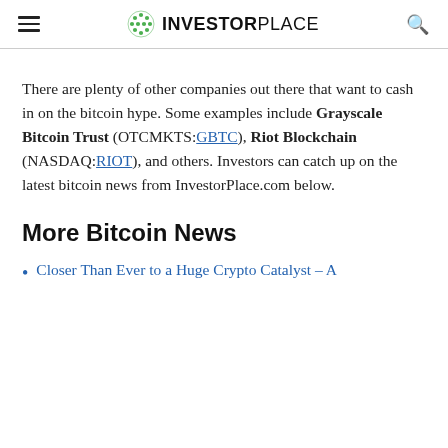INVESTORPLACE
There are plenty of other companies out there that want to cash in on the bitcoin hype. Some examples include Grayscale Bitcoin Trust (OTCMKTS:GBTC), Riot Blockchain (NASDAQ:RIOT), and others. Investors can catch up on the latest bitcoin news from InvestorPlace.com below.
More Bitcoin News
Closer Than Ever to a Huge Crypto Catalyst – A